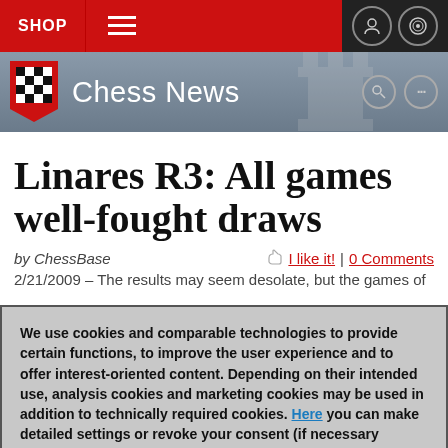SHOP
Chess News
Linares R3: All games well-fought draws
by ChessBase   I like it! | 0 Comments
2/21/2009 – The results may seem desolate, but the games of
We use cookies and comparable technologies to provide certain functions, to improve the user experience and to offer interest-oriented content. Depending on their intended use, analysis cookies and marketing cookies may be used in addition to technically required cookies. Here you can make detailed settings or revoke your consent (if necessary partially) with effect for the future. Further information can be found in our data protection declaration.